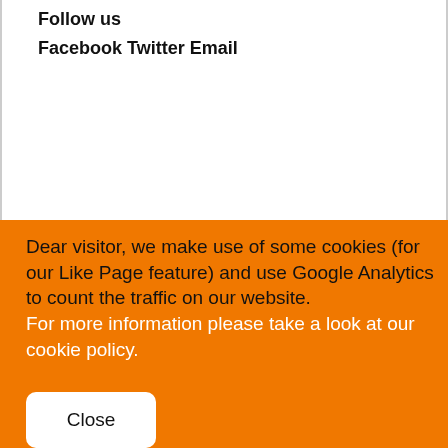Follow us
Facebook Twitter Email
Dear visitor, we make use of some cookies (for our Like Page feature) and use Google Analytics to count the traffic on our website. For more information please take a look at our cookie policy.
Close